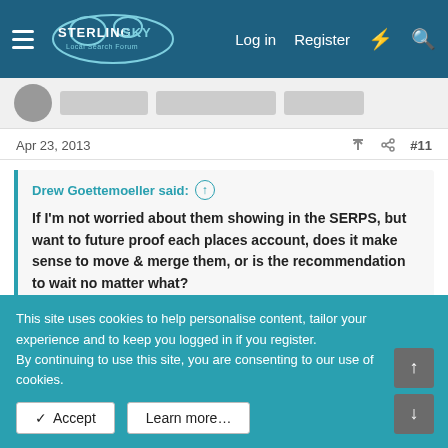Sterling Sky Local Search Forum — Log in  Register
Apr 23, 2013  #11
Drew Goettemoeller said: ↑
If I'm not worried about them showing in the SERPS, but want to future proof each places account, does it make sense to move & merge them, or is the recommendation to wait no matter what?
Hi Drew,
If you want to future proof, avoid bugs and hair pulling and
This site uses cookies to help personalise content, tailor your experience and to keep you logged in if you register.
By continuing to use this site, you are consenting to our use of cookies.